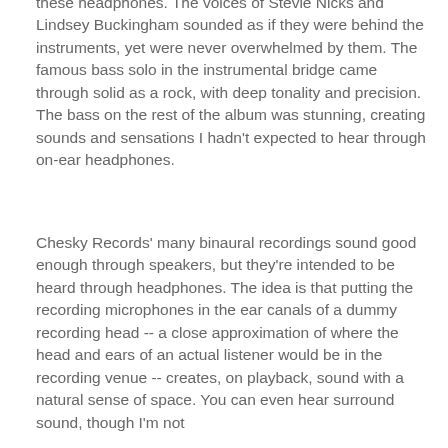these headphones. The voices of Stevie Nicks and Lindsey Buckingham sounded as if they were behind the instruments, yet were never overwhelmed by them. The famous bass solo in the instrumental bridge came through solid as a rock, with deep tonality and precision. The bass on the rest of the album was stunning, creating sounds and sensations I hadn't expected to hear through on-ear headphones.
Chesky Records' many binaural recordings sound good enough through speakers, but they're intended to be heard through headphones. The idea is that putting the recording microphones in the ear canals of a dummy recording head -- a close approximation of where the head and ears of an actual listener would be in the recording venue -- creates, on playback, sound with a natural sense of space. You can even hear surround sound, though I'm not